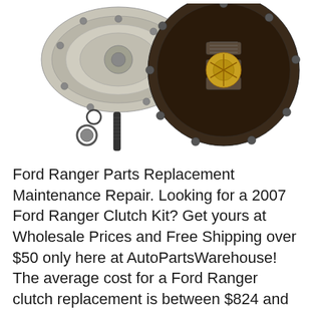[Figure (photo): Automotive clutch kit components including a clutch disc, pressure plate, alignment tool, pilot bearing, and release fork spring against a white background]
Ford Ranger Parts Replacement Maintenance Repair. Looking for a 2007 Ford Ranger Clutch Kit? Get yours at Wholesale Prices and Free Shipping over $50 only here at AutoPartsWarehouse! The average cost for a Ford Ranger clutch replacement is between $824 and $966. Labor costs are estimated between $459 and $580 while parts are